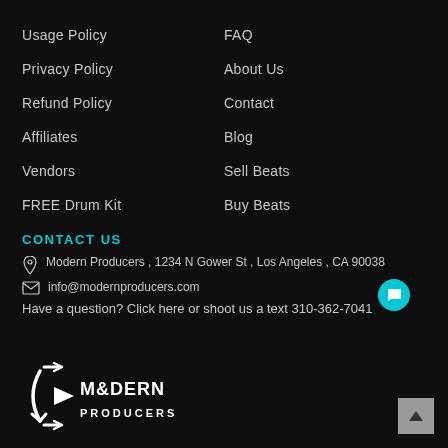Usage Policy
FAQ
Privacy Policy
About Us
Refund Policy
Contact
Affiliates
Blog
Vendors
Sell Beats
FREE Drum Kit
Buy Beats
CONTACT US
Modern Producers , 1234 N Gower St , Los Angeles , CA 90038
info@modernproducers.com
Have a question? Click here or shoot us a text 310-362-7041
[Figure (logo): Modern Producers logo — stylized play button with arrow icons and bold white text]